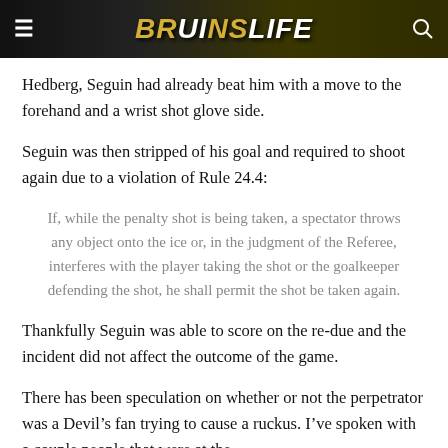BRUINSLIFE
Hedberg, Seguin had already beat him with a move to the forehand and a wrist shot glove side.
Seguin was then stripped of his goal and required to shoot again due to a violation of Rule 24.4:
If, while the penalty shot is being taken, a spectator throws any object onto the ice or, in the judgment of the Referee, interferes with the player taking the shot or the goalkeeper defending the shot, he shall permit the shot be taken again.
Thankfully Seguin was able to score on the re-due and the incident did not affect the outcome of the game.
There has been speculation on whether or not the perpetrator was a Devil’s fan trying to cause a ruckus. I’ve spoken with a couple people that were at the